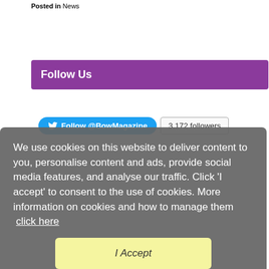Posted in News
Follow Us
[Figure (screenshot): Twitter Follow @BowMagazine button with 3,172 followers badge]
We use cookies on this website to deliver content to you, personalise content and ads, provide social media features, and analyse our traffic. Click 'I accept' to consent to the use of cookies. More information on cookies and how to manage them  click here
I Accept